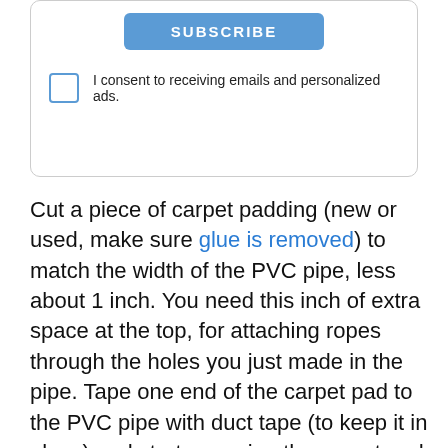SUBSCRIBE
I consent to receiving emails and personalized ads.
Cut a piece of carpet padding (new or used, make sure glue is removed) to match the width of the PVC pipe, less about 1 inch. You need this inch of extra space at the top, for attaching ropes through the holes you just made in the pipe. Tape one end of the carpet pad to the PVC pipe with duct tape (to keep it in place) and start wrapping the carpet pad around the pipe, ensuring that each layer is snug over the previous. If you run out of carpet pad, tape off the end of the piece and start another, taping it in place. Your goal is to get enough pad on the pipe to exactly equal the diameter of the plywood disk that is at
27
WHAT'S NEXT → Wooden Curtain...